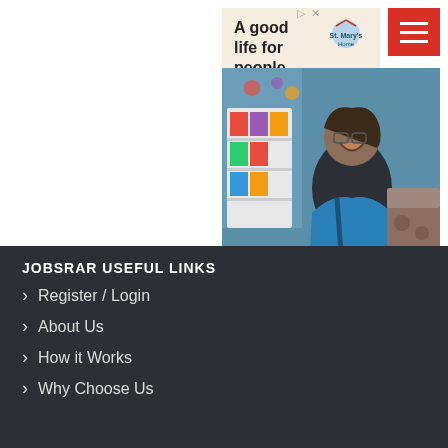[Figure (screenshot): Hamburger menu button (red background with three white horizontal bars) in top-right corner]
[Figure (infographic): Ad banner with text 'A good life for people with different abilities.' and St. Mary's Home logo]
[Figure (logo): Jobsrar logo with stylized 'J' featuring a location pin icon, in dark navy blue and red]
[Figure (photo): Photo of a person laughing in a colorful room with shelves, with 'Learn More' overlay and right chevron]
JOIN US
Sign In
JOBSRAR USEFUL LINKS
Register / Login
About Us
How it Works
Why Choose Us